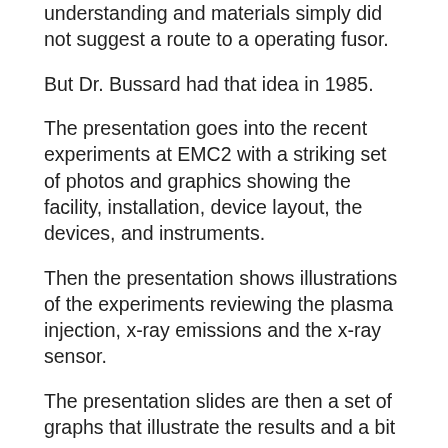understanding and materials simply did not suggest a route to a operating fusor.
But Dr. Bussard had that idea in 1985.
The presentation goes into the recent experiments at EMC2 with a striking set of photos and graphics showing the facility, installation, device layout, the devices, and instruments.
Then the presentation shows illustrations of the experiments reviewing the plasma injection, x-ray emissions and the x-ray sensor.
The presentation slides are then a set of graphs that illustrate the results and a bit